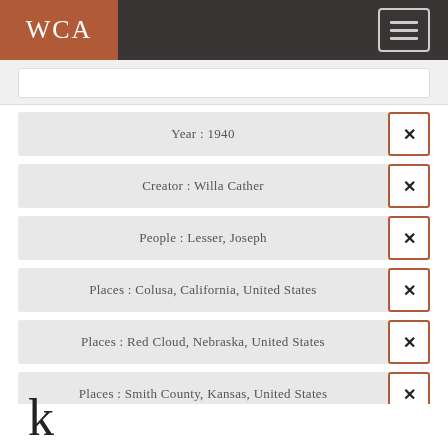WCA
Year : 1940
Creator : Willa Cather
People : Lesser, Joseph
Places : Colusa, California, United States
Places : Red Cloud, Nebraska, United States
Places : Smith County, Kansas, United States
People : Crowell, Willard